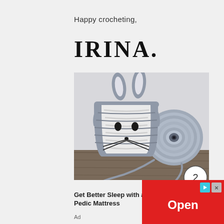Happy crocheting,
IRINA.
[Figure (photo): A crocheted bunny/mouse basket in white and grey yarn next to a grey yarn roll, on a wooden surface. A number 2 in a circle appears in the bottom right corner of the photo.]
Get Better Sleep with a Tempur-Pedic Mattress
Ad